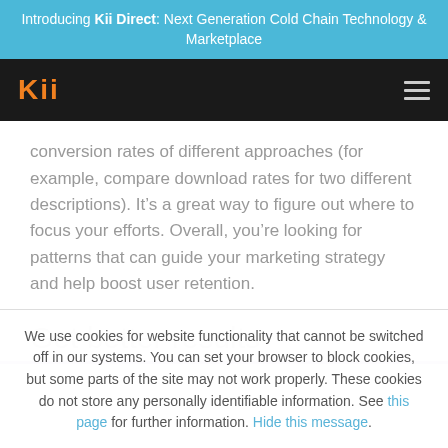Introducing Kii Direct: Next Generation Cold Chain Technology & Marketplace
[Figure (logo): Kii logo in orange on dark navigation bar with hamburger menu icon]
conversion rates of different approaches (for example, compare download rates for two different descriptions). It’s a great way to figure out where to focus your efforts. Overall, you’re looking for patterns that can guide your marketing strategy and help boost user retention.
Get better results
We use cookies for website functionality that cannot be switched off in our systems. You can set your browser to block cookies, but some parts of the site may not work properly. These cookies do not store any personally identifiable information. See this page for further information. Hide this message.